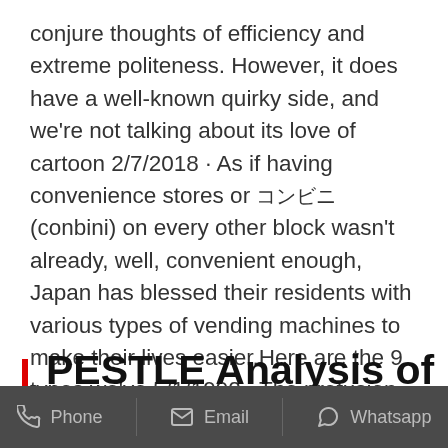conjure thoughts of efficiency and extreme politeness. However, it does have a well-known quirky side, and we're not talking about its love of cartoon 2/7/2018 · As if having convenience stores or コンビニ (conbini) on every other block wasn't already, well, convenient enough, Japan has blessed their residents with various types of vending machines to make their lives easier.Here are the 9 types we've 5/1/1992 · The profusion of vending machines has not been without criticism. Some protest that the machines make it easy for underage youths to buy alcohol and cigarettes. The legal drinking age in Japan
PESTLE Analysis of Japan
Phone   Email   Whatsapp